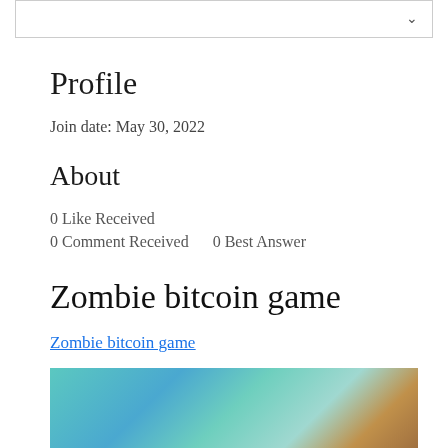[Figure (screenshot): Dropdown bar with chevron/arrow icon at top of page]
Profile
Join date: May 30, 2022
About
0 Like Received
0 Comment Received    0 Best Answer
Zombie bitcoin game
Zombie bitcoin game
[Figure (photo): Blurred game screenshot with teal/turquoise background]